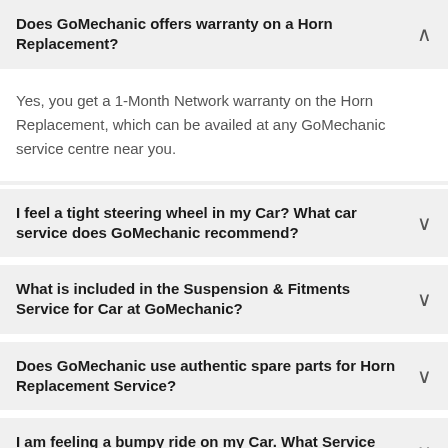Does GoMechanic offers warranty on a Horn Replacement?
Yes, you get a 1-Month Network warranty on the Horn Replacement, which can be availed at any GoMechanic service centre near you.
I feel a tight steering wheel in my Car? What car service does GoMechanic recommend?
What is included in the Suspension & Fitments Service for Car at GoMechanic?
Does GoMechanic use authentic spare parts for Horn Replacement Service?
I am feeling a bumpy ride on my Car. What Service does GoMechanic recommend?